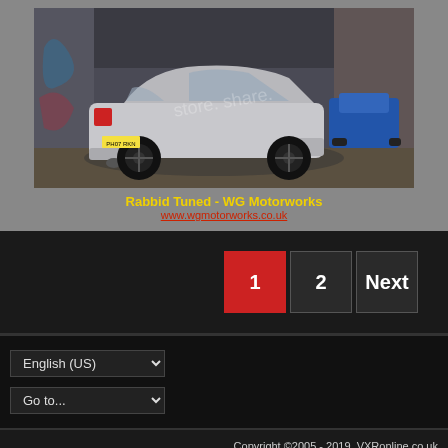[Figure (photo): Silver hatchback car (Vauxhall VXR) parked in an urban underpass with graffiti walls. A watermark reads 'store, share.' overlaid on the image. Another blue car is visible in the background.]
Rabbid Tuned - WG Motorworks
www.wgmotorworks.co.uk
1 2 Next
English (US)
Go to...
Copyright ©2005 - 2019, VXRonline.co.uk
A product of Raw Carbon